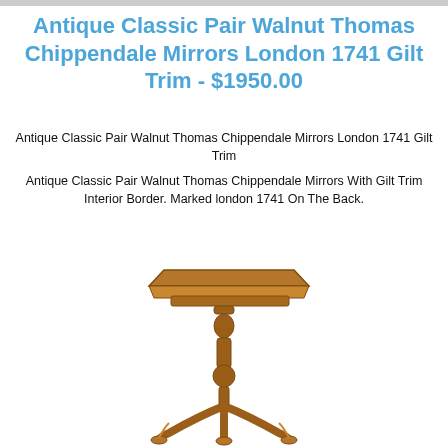Antique Classic Pair Walnut Thomas Chippendale Mirrors London 1741 Gilt Trim - $1950.00
Antique Classic Pair Walnut Thomas Chippendale Mirrors London 1741 Gilt Trim
Antique Classic Pair Walnut Thomas Chippendale Mirrors With Gilt Trim Interior Border. Marked london 1741 On The Back.
[Figure (photo): Antique wooden pedestal side table with tripod base, turned column, and rectangular top, photographed on white background.]